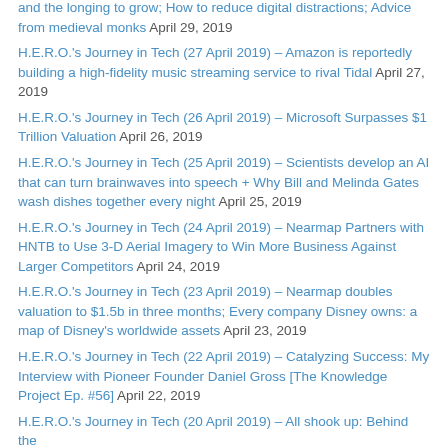and the longing to grow; How to reduce digital distractions; Advice from medieval monks April 29, 2019
H.E.R.O.'s Journey in Tech (27 April 2019) – Amazon is reportedly building a high-fidelity music streaming service to rival Tidal April 27, 2019
H.E.R.O.'s Journey in Tech (26 April 2019) – Microsoft Surpasses $1 Trillion Valuation April 26, 2019
H.E.R.O.'s Journey in Tech (25 April 2019) – Scientists develop an AI that can turn brainwaves into speech + Why Bill and Melinda Gates wash dishes together every night April 25, 2019
H.E.R.O.'s Journey in Tech (24 April 2019) – Nearmap Partners with HNTB to Use 3-D Aerial Imagery to Win More Business Against Larger Competitors April 24, 2019
H.E.R.O.'s Journey in Tech (23 April 2019) – Nearmap doubles valuation to $1.5b in three months; Every company Disney owns: a map of Disney's worldwide assets April 23, 2019
H.E.R.O.'s Journey in Tech (22 April 2019) – Catalyzing Success: My Interview with Pioneer Founder Daniel Gross [The Knowledge Project Ep. #56] April 22, 2019
H.E.R.O.'s Journey in Tech (20 April 2019) – All shook up: Behind the …